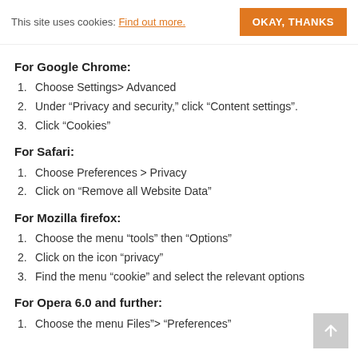This site uses cookies: Find out more.
For Google Chrome:
1. Choose Settings> Advanced
2. Under “Privacy and security,” click “Content settings”.
3. Click “Cookies”
For Safari:
1. Choose Preferences > Privacy
2. Click on “Remove all Website Data”
For Mozilla firefox:
1. Choose the menu “tools” then “Options”
2. Click on the icon “privacy”
3. Find the menu “cookie” and select the relevant options
For Opera 6.0 and further:
1. Choose the menu Files”> “Preferences”